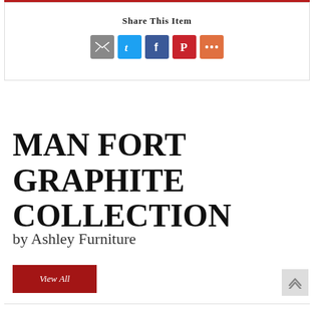Share This Item
[Figure (infographic): Social share icons: email (grey), Twitter (blue), Facebook (dark blue), Pinterest (red), More (orange)]
MAN FORT GRAPHITE COLLECTION
by Ashley Furniture
View All